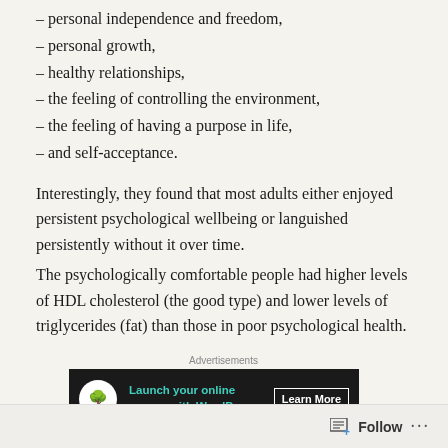– personal independence and freedom,
– personal growth,
– healthy relationships,
– the feeling of controlling the environment,
– the feeling of having a purpose in life,
– and self-acceptance.
Interestingly, they found that most adults either enjoyed persistent psychological wellbeing or languished persistently without it over time.
[Figure (other): Advertisement banner: Launch your online course with WordPress. Learn More button. Dark background with teal text and bonsai tree logo.]
The psychologically comfortable people had higher levels of HDL cholesterol (the good type) and lower levels of triglycerides (fat) than those in poor psychological health.
Follow ...